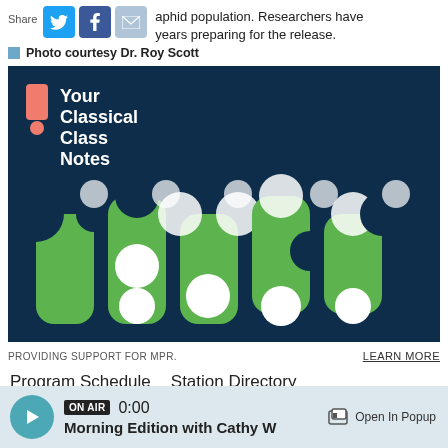aphid population. Researchers have years preparing for the release.
Photo courtesy Dr. Roy Scott
[Figure (logo): Your Classical Class Notes advertisement banner with teal background and decorative green geometric shapes. Text reads Your Classical Class Notes.]
PROVIDING SUPPORT FOR MPR.
LEARN MORE
Program Schedule   Station Directory
ON AIR  0:00  Morning Edition with Cathy W
Open In Popup